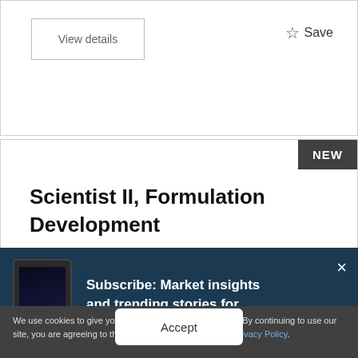View details
☆ Save
NEW
Scientist II, Formulation Development
Subscribe: Market insights and trending stories for biopharma leaders
We use cookies to give you a better BioSpace experience. By continuing to use our site, you are agreeing to the use of cookies as set in our Privacy Policy.
Accept